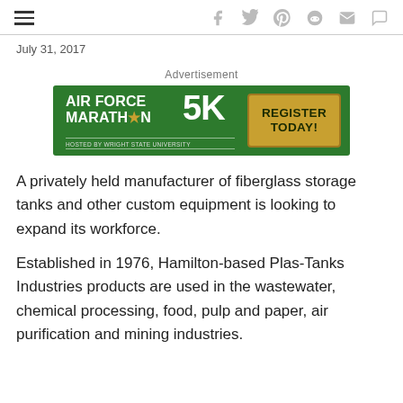≡  f  🐦  p  reddit  ✉  💬
July 31, 2017
Advertisement
[Figure (other): Air Force Marathon 5K advertisement banner. Green background with white bold text 'AIR FORCE MARATHON' with a star, '5K' in large letters, 'HOSTED BY WRIGHT STATE UNIVERSITY' in small text below. Gold/tan button on right reading 'REGISTER TODAY!']
A privately held manufacturer of fiberglass storage tanks and other custom equipment is looking to expand its workforce.
Established in 1976, Hamilton-based Plas-Tanks Industries products are used in the wastewater, chemical processing, food, pulp and paper, air purification and mining industries.